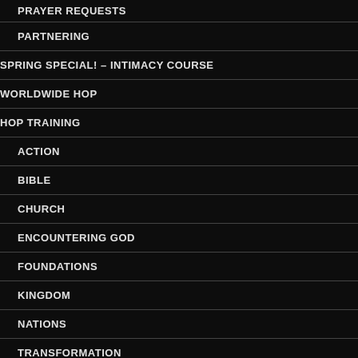PRAYER REQUESTS
PARTNERING
SPRING SPECIAL! – INTIMACY COURSE
WORLDWIDE HOP
HOP TRAINING
ACTION
BIBLE
CHURCH
ENCOUNTERING GOD
FOUNDATIONS
KINGDOM
NATIONS
TRANSFORMATION